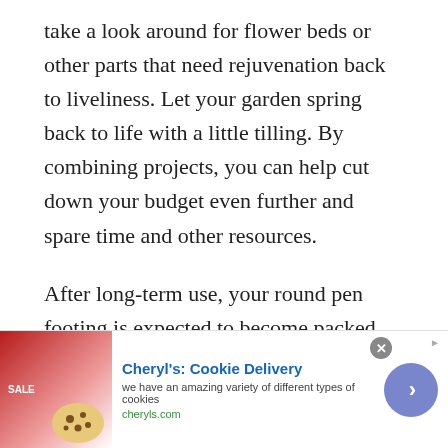take a look around for flower beds or other parts that need rejuvenation back to liveliness. Let your garden spring back to life with a little tilling. By combining projects, you can help cut down your budget even further and spare time and other resources.
After long-term use, your round pen footing is expected to become packed down. You will need to haul in sand occasionally to cushion the already congested layers. You may need to purchase a truckload of sand at between $100 and $200 for improving the footing. This is worthwhile investment that you should made a habit of in your round pen. Th…
[Figure (other): Advertisement banner for Cheryl's Cookie Delivery showing a cookie image on the left, ad title 'Cheryl's: Cookie Delivery', description text, cheryls.com URL, a close button, and a purple arrow button on the right.]